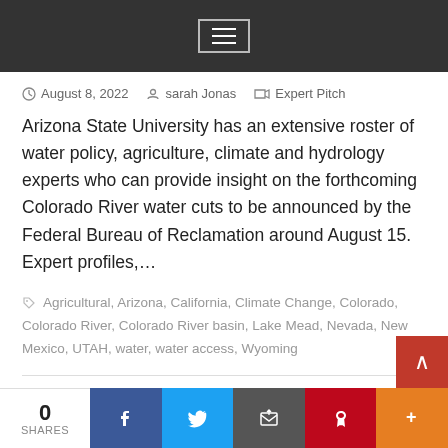[Navigation menu bar]
August 8, 2022   sarah Jonas   Expert Pitch
Arizona State University has an extensive roster of water policy, agriculture, climate and hydrology experts who can provide insight on the forthcoming Colorado River water cuts to be announced by the Federal Bureau of Reclamation around August 15.  Expert profiles,...
Agricultural, Arizona, California, Climate Change, Colorado, Colorado River, Colorado River basin, Lake Mead, Nevada, New Mexico, UTAH, water, water access, Wyoming
Nutrition solution can help heat-stressed
0 SHARES  [Facebook] [Twitter] [Email] [Pinterest] [More]